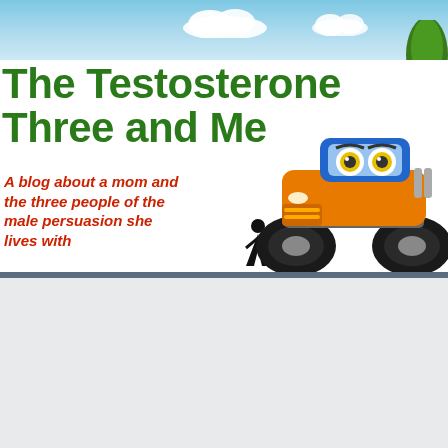[Figure (illustration): Blog header banner for 'The Testosterone Three and Me' showing a blue sky background with clouds, white content area with green bold title text, red italic subtitle text, silhouette figures of a woman and two men, and a cartoon orange monster truck with blue cab and expressive eyes.]
The Testosterone Three and Me
A blog about a mom and the three people of the male persuasion she lives with
THURSDAY, DECEMBER 4, 2014
Spin Cycle--Preparation
Preparation is the topic of the spin Cycle this week.  How do you prepare for things like tests, dinner, life?  I must say, I truly don't think I prepare as much as I should for things.  But